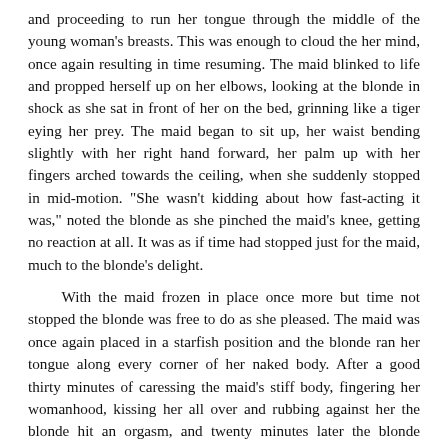and proceeding to run her tongue through the middle of the young woman's breasts. This was enough to cloud the her mind, once again resulting in time resuming. The maid blinked to life and propped herself up on her elbows, looking at the blonde in shock as she sat in front of her on the bed, grinning like a tiger eying her prey. The maid began to sit up, her waist bending slightly with her right hand forward, her palm up with her fingers arched towards the ceiling, when she suddenly stopped in mid-motion. "She wasn't kidding about how fast-acting it was," noted the blonde as she pinched the maid's knee, getting no reaction at all. It was as if time had stopped just for the maid, much to the blonde's delight.
With the maid frozen in place once more but time not stopped the blonde was free to do as she pleased. The maid was once again placed in a starfish position and the blonde ran her tongue along every corner of her naked body. After a good thirty minutes of caressing the maid's stiff body, fingering her womanhood, kissing her all over and rubbing against her the blonde hit an orgasm, and twenty minutes later the blonde decided to have a second bath. "Thank god for drugs, otherwise I might never have done it with you," moaned the blonde in pure pleasure, stepping off of the bed while smiling at her frozen partner.
Looking down at her feet, the blonde picked up her wallet and checked if anything was out of place. Her ID was the only thing...